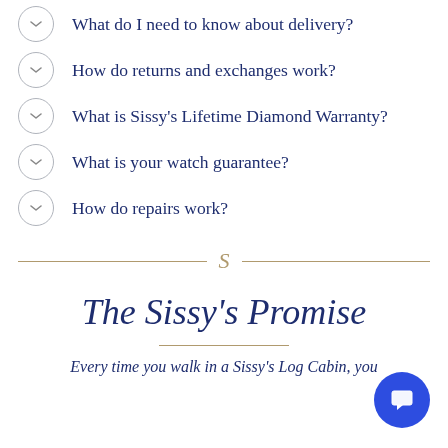What do I need to know about delivery?
How do returns and exchanges work?
What is Sissy's Lifetime Diamond Warranty?
What is your watch guarantee?
How do repairs work?
The Sissy's Promise
Every time you walk in a Sissy's Log Cabin, you